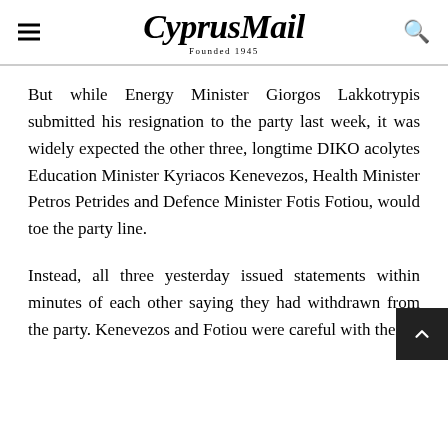CyprusMail — Founded 1945
But while Energy Minister Giorgos Lakkotrypis submitted his resignation to the party last week, it was widely expected the other three, longtime DIKO acolytes Education Minister Kyriacos Kenevezos, Health Minister Petros Petrides and Defence Minister Fotis Fotiou, would toe the party line.
Instead, all three yesterday issued statements within minutes of each other saying they had withdrawn from the party. Kenevezos and Fotiou were careful with their